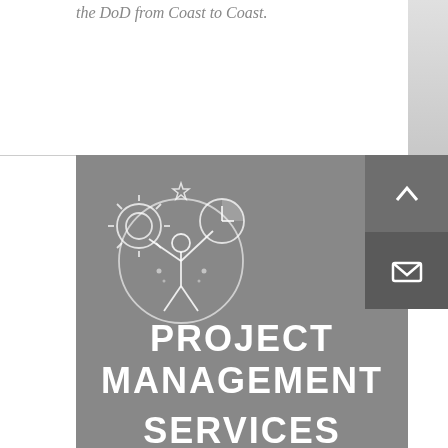the DoD from Coast to Coast.
[Figure (illustration): Line-art icon of a person with arms raised, holding gears and a clock, surrounded by a circular border with star and tool accents – representing project management.]
PROJECT MANAGEMENT SERVICES